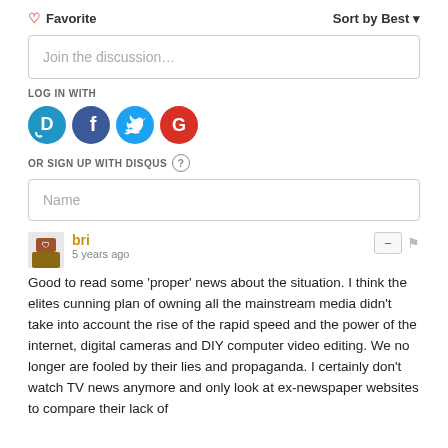♡ Favorite
Sort by Best ▾
Join the discussion…
LOG IN WITH
[Figure (infographic): Four social login icons in circles: Disqus (blue), Facebook (dark blue), Twitter (light blue), Google (red)]
OR SIGN UP WITH DISQUS ?
Name
bri
5 years ago
Good to read some 'proper' news about the situation. I think the elites cunning plan of owning all the mainstream media didn't take into account the rise of the rapid speed and the power of the internet, digital cameras and DIY computer video editing. We no longer are fooled by their lies and propaganda. I certainly don't watch TV news anymore and only look at ex-newspaper websites to compare their lack of